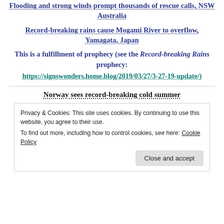Flooding and strong winds prompt thousands of rescue calls, NSW Australia
Record-breaking rains cause Mogami River to overflow, Yamagata, Japan
This is a fulfillment of prophecy (see the Record-breaking Rains prophecy: https://signswonders.home.blog/2019/03/27/3-27-19-update/)
Norway sees record-breaking cold summer
Privacy & Cookies: This site uses cookies. By continuing to use this website, you agree to their use.
To find out more, including how to control cookies, see here: Cookie Policy